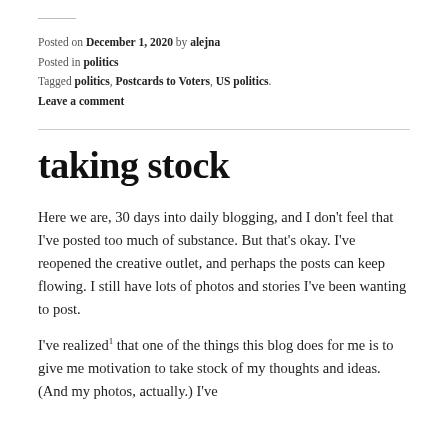Posted on December 1, 2020 by alejna
Posted in politics
Tagged politics, Postcards to Voters, US politics.
Leave a comment
taking stock
Here we are, 30 days into daily blogging, and I don't feel that I've posted too much of substance. But that's okay. I've reopened the creative outlet, and perhaps the posts can keep flowing. I still have lots of photos and stories I've been wanting to post.
I've realized¹ that one of the things this blog does for me is to give me motivation to take stock of my thoughts and ideas. (And my photos, actually.) I've